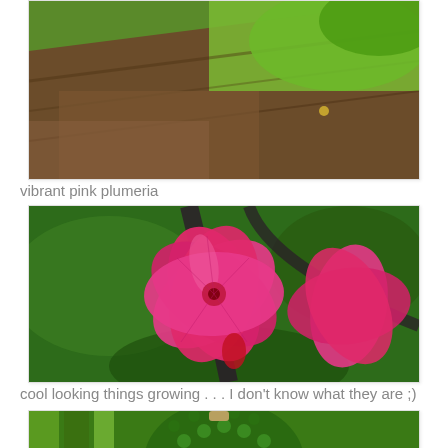[Figure (photo): Close-up photo of a brown tree bark or branch with green tropical leaves in the background, partially cropped at top of page]
vibrant pink plumeria
[Figure (photo): Vibrant pink plumeria flowers with green leaves in the background, close-up shot showing multiple blooms]
cool looking things growing . . . I don't know what they are ;)
[Figure (photo): Green spiky tropical fruit or plant growth with surrounding green foliage, partially cropped at bottom of page]